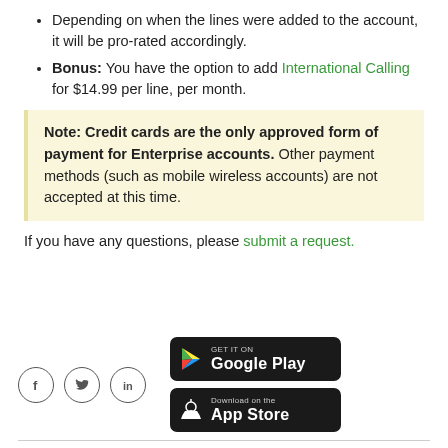Depending on when the lines were added to the account, it will be pro-rated accordingly.
Bonus: You have the option to add International Calling for $14.99 per line, per month.
Note: Credit cards are the only approved form of payment for Enterprise accounts. Other payment methods (such as mobile wireless accounts) are not accepted at this time.
If you have any questions, please submit a request.
[Figure (other): Social media icons (Facebook, Twitter, LinkedIn) and app store download buttons (Google Play and App Store)]